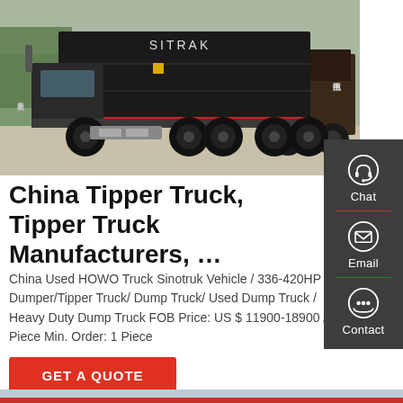[Figure (photo): Side view of a dark-colored SITRAK/Sinotruk HOWO heavy duty dump truck/tipper truck parked in a yard, with Chinese characters on the cab and body. Several similar trucks visible in background.]
China Tipper Truck, Tipper Truck Manufacturers, …
China Used HOWO Truck Sinotruk Vehicle / 336-420HP Dumper/Tipper Truck/ Dump Truck/ Used Dump Truck / Heavy Duty Dump Truck FOB Price: US $ 11900-18900 / Piece Min. Order: 1 Piece
GET A QUOTE